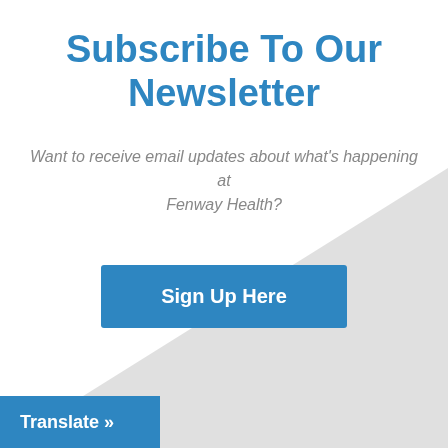Subscribe To Our Newsletter
Want to receive email updates about what’s happening at Fenway Health?
[Figure (other): Blue button with white bold text reading 'Sign Up Here']
[Figure (other): Light gray diagonal triangle decorative shape in bottom-right corner]
Translate »